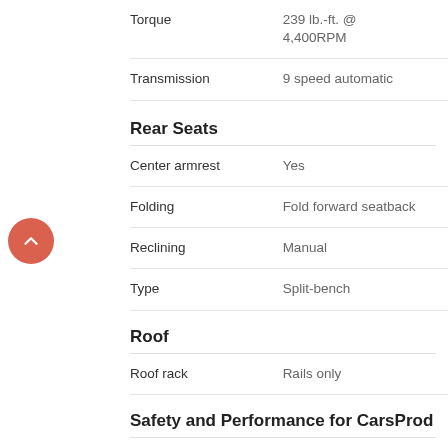| Attribute | Value |
| --- | --- |
| Torque | 239 lb.-ft. @ 4,400RPM |
| Transmission | 9 speed automatic |
Rear Seats
| Attribute | Value |
| --- | --- |
| Center armrest | Yes |
| Folding | Fold forward seatback |
| Reclining | Manual |
| Type | Split-bench |
Roof
| Attribute | Value |
| --- | --- |
| Roof rack | Rails only |
Safety and Performance for CarsProd
| Attribute | Value |
| --- | --- |
| Antilock Brakes | 4-wheel |
| Four-wheel antilock brakes | Four-wheel antilock brakes |